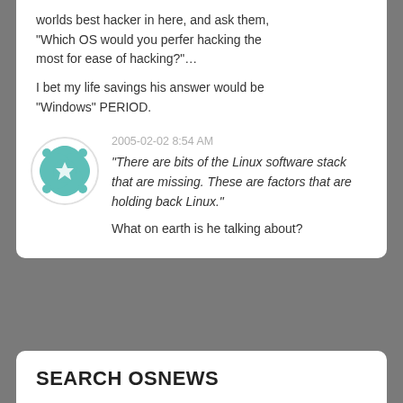worlds best hacker in here, and ask them, "Which OS would you perfer hacking the most for ease of hacking?"…
I bet my life savings his answer would be "Windows" PERIOD.
2005-02-02 8:54 AM
"There are bits of the Linux software stack that are missing. These are factors that are holding back Linux."
What on earth is he talking about?
SEARCH OSNEWS
Search the site